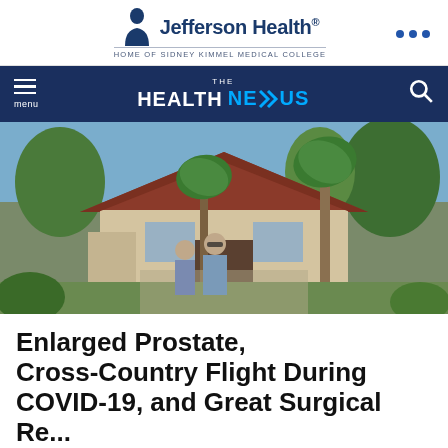[Figure (logo): Jefferson Health logo with text 'Jefferson Health.' and tagline 'HOME OF SIDNEY KIMMEL MEDICAL COLLEGE']
[Figure (screenshot): Navigation bar with hamburger menu, 'THE HEALTH NEXUS' logo in white and blue, and search icon on dark navy background]
[Figure (photo): Couple standing in front of a house with a terracotta roof and palm trees in a sunny setting]
Enlarged Prostate, Cross-Country Flight During COVID-19, and Great Surgical Re...